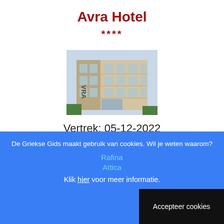Avra Hotel
****
[Figure (photo): Exterior photo of Avra Hotel building showing multi-storey facade with balconies and greenery at entrance]
Vertrek: 05-12-2022
[Figure (logo): Reizen De Griekse Gids logo with script 'Reizen' in red italic and 'De Griekse Gids' in blue bordered box]
De Griekse Gids maakt gebruik van cookies. Wil je weten waarom?
Rafina
Attica
Klik hier voor meer informatie.
Accepteer cookies